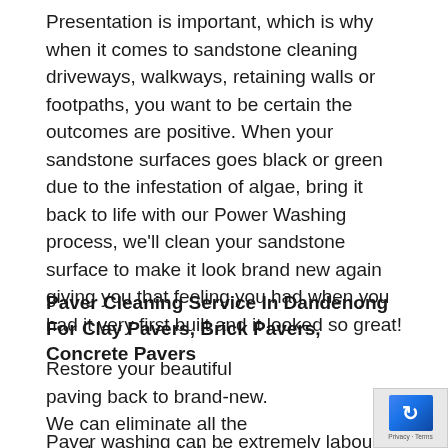Presentation is important, which is why when it comes to sandstone cleaning driveways, walkways, retaining walls or footpaths, you want to be certain the outcomes are positive. When your sandstone surfaces goes black or green due to the infestation of algae, bring it back to life with our Power Washing process, we'll clean your sandstone surface to make it look brand new again giving you that feeling you had when you had it very first built and it looked so great!
Paver Cleaning Service In Dandenong For Clay Pavers, Brick Pavers, Concrete Pavers
Restore your beautiful paving back to brand-new. We can eliminate all the weeds growing in between your pavers.
Paver washing can be extremely labour extensive.
[Figure (other): reCAPTCHA badge widget in the bottom-right corner showing the Google reCAPTCHA logo with an arrow icon and Privacy/Terms text]